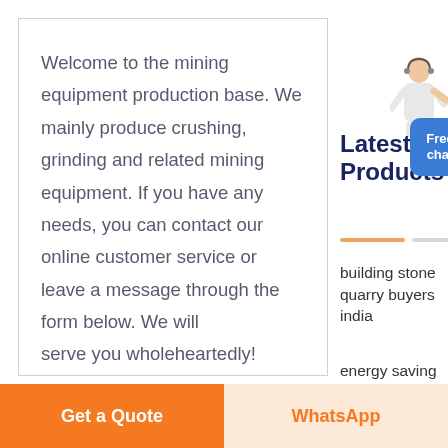Welcome to the mining equipment production base. We mainly produce crushing, grinding and related mining equipment. If you have any needs, you can contact our online customer service or leave a message through the form below. We will serve you wholeheartedly!
Latest Products
[Figure (illustration): Person with headset pointing, customer service representative illustration]
[Figure (other): Free chat button badge (blue rounded square with text 'Free chat')]
building stone quarry buyers india
energy saving building plumbing
Get a Quote
WhatsApp